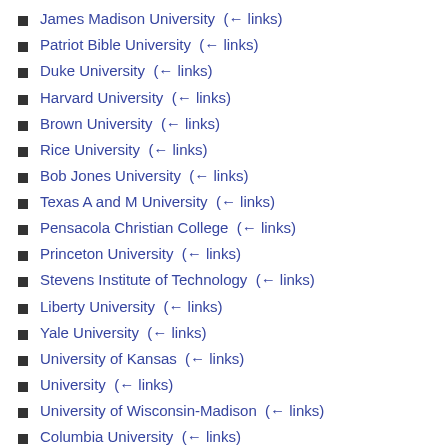James Madison University  (← links)
Patriot Bible University  (← links)
Duke University  (← links)
Harvard University  (← links)
Brown University  (← links)
Rice University  (← links)
Bob Jones University  (← links)
Texas A and M University  (← links)
Pensacola Christian College  (← links)
Princeton University  (← links)
Stevens Institute of Technology  (← links)
Liberty University  (← links)
Yale University  (← links)
University of Kansas  (← links)
University  (← links)
University of Wisconsin-Madison  (← links)
Columbia University  (← links)